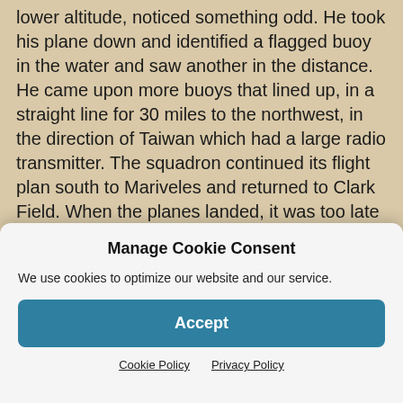lower altitude, noticed something odd. He took his plane down and identified a flagged buoy in the water and saw another in the distance. He came upon more buoys that lined up, in a straight line for 30 miles to the northwest, in the direction of Taiwan which had a large radio transmitter. The squadron continued its flight plan south to Mariveles and returned to Clark Field. When the planes landed, it was too late to do anything that day. The next day, when another squadron was sent to the area, the buoys had been picked up by a fishing boat – with a tarp on its deck – which was seen making its way to shore.
Manage Cookie Consent
We use cookies to optimize our website and our service.
Accept
Cookie Policy   Privacy Policy